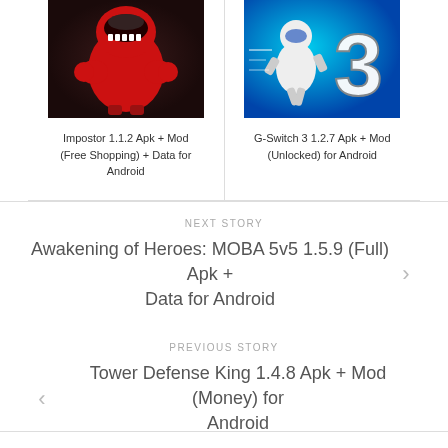[Figure (photo): Impostor 1.1.2 game icon — red monster character with boxing gloves and sharp teeth on dark background]
Impostor 1.1.2 Apk + Mod (Free Shopping) + Data for Android
[Figure (photo): G-Switch 3 1.2.7 game icon — white robot running on teal/blue background with large number 3]
G-Switch 3 1.2.7 Apk + Mod (Unlocked) for Android
NEXT STORY
Awakening of Heroes: MOBA 5v5 1.5.9 (Full) Apk + Data for Android
PREVIOUS STORY
Tower Defense King 1.4.8 Apk + Mod (Money) for Android